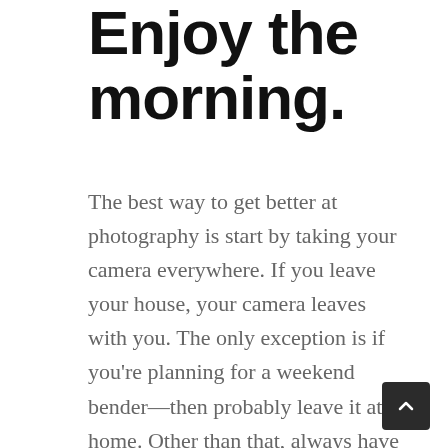Enjoy the morning.
The best way to get better at photography is start by taking your camera everywhere. If you leave your house, your camera leaves with you. The only exception is if you're planning for a weekend bender—then probably leave it at home. Other than that, always have it slung